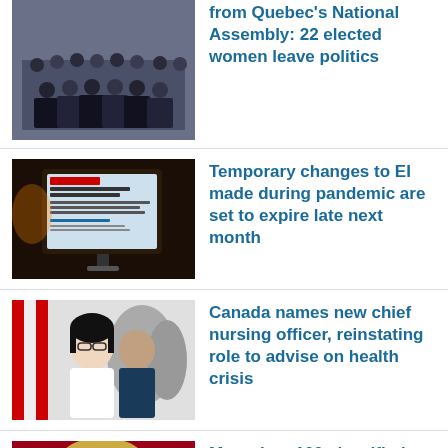[Figure (photo): Group photo of formally dressed politicians in a chamber]
from Quebec's National Assembly: 22 elected women leave politics
[Figure (photo): Screenshot of an EI benefits government webpage on a monitor]
Temporary changes to EI made during pandemic are set to expire late next month
[Figure (photo): Woman speaking at microphone with officials behind, Canadian flags]
Canada names new chief nursing officer, reinstating role to advise on health crisis
[Figure (photo): Close-up of a person speaking at a rally with red background]
More than 100 classified Trump docs recovered